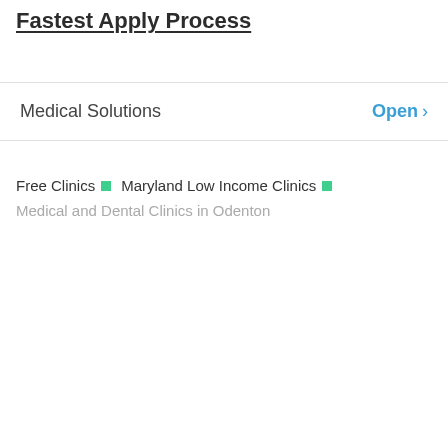Fastest Apply Process
Medical Solutions  Open >
Free Clinics  Maryland Low Income Clinics
Medical and Dental Clinics in Odenton